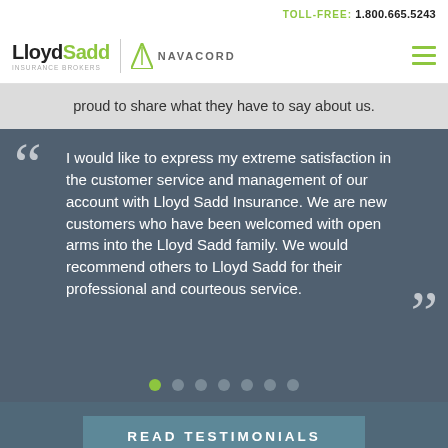TOLL-FREE: 1.800.665.5243
[Figure (logo): LloydSadd Insurance Brokers and Navacord logos with navigation hamburger menu]
proud to share what they have to say about us.
I would like to express my extreme satisfaction in the customer service and management of our account with Lloyd Sadd Insurance. We are new customers who have been welcomed with open arms into the Lloyd Sadd family. We would recommend others to Lloyd Sadd for their professional and courteous service.
READ TESTIMONIALS